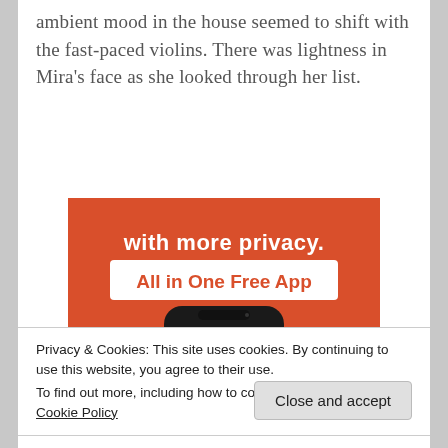ambient mood in the house seemed to shift with the fast-paced violins. There was lightness in Mira's face as she looked through her list.
[Figure (photo): DuckDuckGo advertisement showing a smartphone with the DuckDuckGo duck logo on an orange background, with text 'with more privacy. All in One Free App']
Privacy & Cookies: This site uses cookies. By continuing to use this website, you agree to their use.
To find out more, including how to control cookies, see here: Cookie Policy
Close and accept